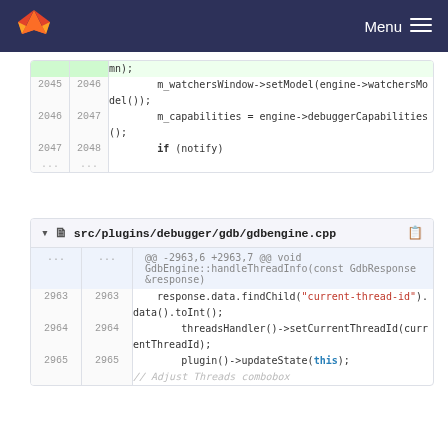GitLab  Menu
| old | new | code |
| --- | --- | --- |
|  |  | mn); |
| 2045 | 2046 |     m_watchersWindow->setModel(engine->watchersModel()); |
| 2046 | 2047 |     m_capabilities = engine->debuggerCapabilities(); |
| 2047 | 2048 |     if (notify) |
| ... | ... |  |
src/plugins/debugger/gdb/gdbengine.cpp
| old | new | code |
| --- | --- | --- |
| ... | ... | @@ -2963,6 +2963,7 @@ void GdbEngine::handleThreadInfo(const GdbResponse &response) |
| 2963 | 2963 |     response.data.findChild("current-thread-id").data().toInt(); |
| 2964 | 2964 |         threadsHandler()->setCurrentThreadId(currentThreadId); |
| 2965 | 2965 |         plugin()->updateState(this); |
|  |  | // Adjust Threads combobox |